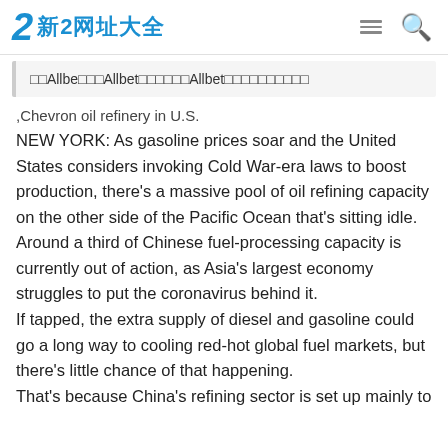新2网址大全
□□Allbe□□□Allbet□□□□□□Allbet□□□□□□□□□□
,Chevron oil refinery in U.S.
NEW YORK: As gasoline prices soar and the United States considers invoking Cold War-era laws to boost production, there's a massive pool of oil refining capacity on the other side of the Pacific Ocean that's sitting idle. Around a third of Chinese fuel-processing capacity is currently out of action, as Asia's largest economy struggles to put the coronavirus behind it. If tapped, the extra supply of diesel and gasoline could go a long way to cooling red-hot global fuel markets, but there's little chance of that happening. That's because China's refining sector is set up mainly to